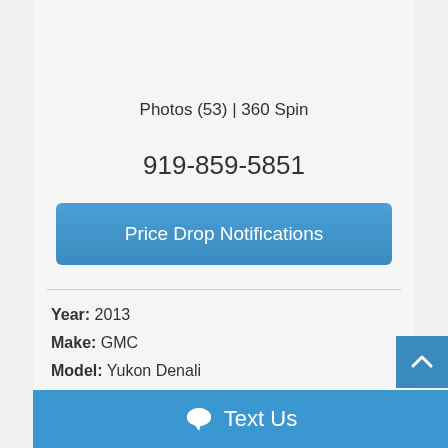Photos (53) | 360 Spin
919-859-5851
Price Drop Notifications
Year: 2013
Make: GMC
Model: Yukon Denali
Trim: 4WD
Text Us